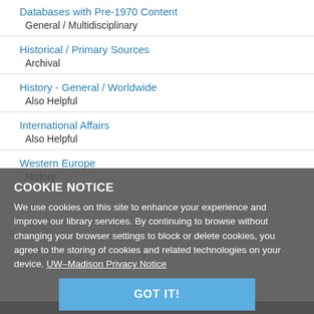Databases with Pre-1970 Content
General / Multidisciplinary
Historical / Primary Sources
Archival
History - General / Worldwide
Also Helpful
International Affairs
Also Helpful
Western Europe
History
COOKIE NOTICE
We use cookies on this site to enhance your experience and improve our library services. By continuing to browse without changing your browser settings to block or delete cookies, you agree to the storing of cookies and related technologies on your device. UW–Madison Privacy Notice
GOT IT!